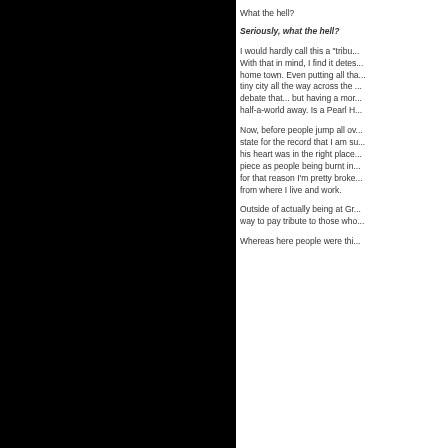What the hell?
Seriously, what the hell?
I would hardly call this a "tribu... With that in mind, I find it detes... home town. Even putting all tha... tiny city all the way across the ... debate that... but having a mor... half-a-world away. Is a Pearl H...
Now, before people jump all ov... state for the record that I am su... his heart was in the right place... piece as people being burnt in... for that reason I'm pretty broke... from where I live and work.
Outside of actually being at Gr... way to pay tribute to those who...
Whereas here people were thi...